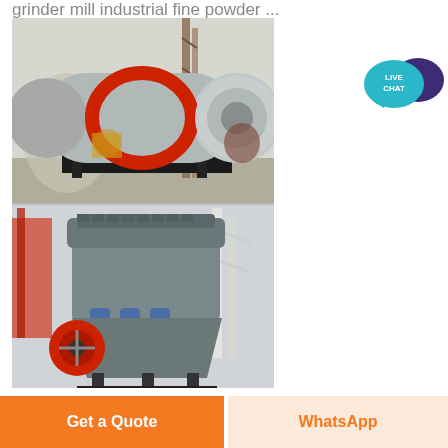grinder mill industrial fine powder ...
[Figure (photo): Two industrial machines: top photo shows a horizontal ball mill/grinder with a large cylindrical grey and red drum on a black metal frame in an outdoor industrial yard; bottom photo shows a grey cone crusher machine with blue hydraulic cylinders and red flywheel on a black frame inside an industrial facility.]
[Figure (illustration): Live chat speech bubble icon: teal circle with 'LIVE CHAT' text and a dark purple chat bubble overlapping.]
Get a Quote
WhatsApp